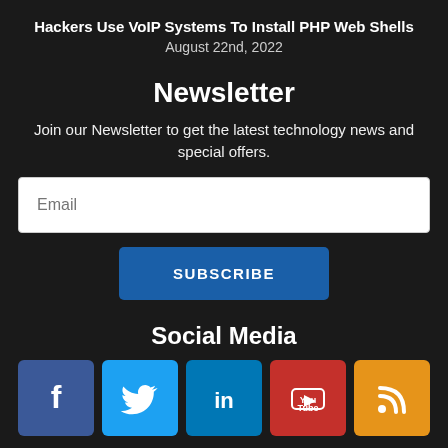Hackers Use VoIP Systems To Install PHP Web Shells
August 22nd, 2022
Newsletter
Join our Newsletter to get the latest technology news and special offers.
Social Media
[Figure (infographic): Social media icons: Facebook, Twitter, LinkedIn, YouTube, RSS]
© Copyright 2022 EnCompass Iowa